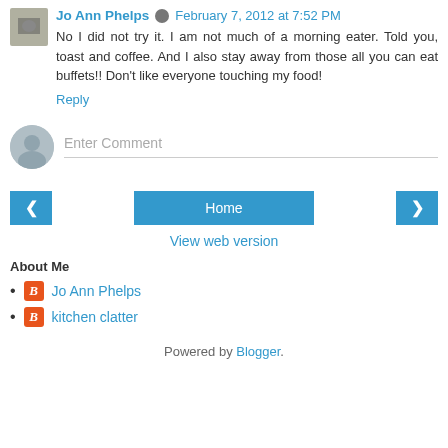Jo Ann Phelps · February 7, 2012 at 7:52 PM
No I did not try it. I am not much of a morning eater. Told you, toast and coffee. And I also stay away from those all you can eat buffets!! Don't like everyone touching my food!
Reply
Enter Comment
Home
View web version
About Me
Jo Ann Phelps
kitchen clatter
Powered by Blogger.